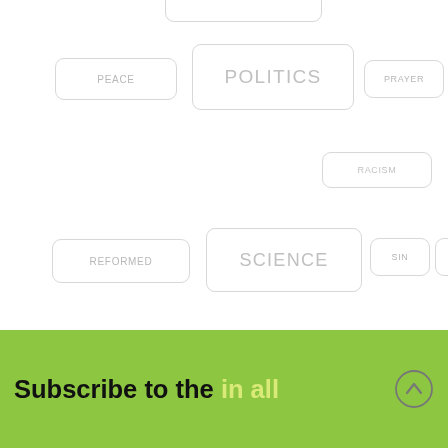[Figure (infographic): Tag cloud with topic keywords in rounded rectangle badges of varying sizes: PEACE, POLITICS, PRAYER, RACISM, REFORMED, SCIENCE, SIN, SUFFERING, TEACHING, TECHNOLOGY, THEOLOGY, WORK, WORSHIP]
Subscribe to the in all